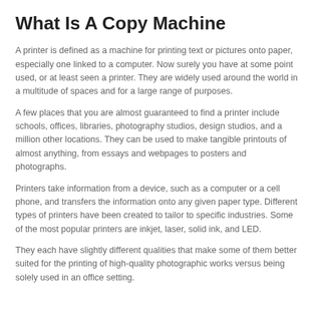What Is A Copy Machine
A printer is defined as a machine for printing text or pictures onto paper, especially one linked to a computer. Now surely you have at some point used, or at least seen a printer. They are widely used around the world in a multitude of spaces and for a large range of purposes.
A few places that you are almost guaranteed to find a printer include schools, offices, libraries, photography studios, design studios, and a million other locations. They can be used to make tangible printouts of almost anything, from essays and webpages to posters and photographs.
Printers take information from a device, such as a computer or a cell phone, and transfers the information onto any given paper type. Different types of printers have been created to tailor to specific industries. Some of the most popular printers are inkjet, laser, solid ink, and LED.
They each have slightly different qualities that make some of them better suited for the printing of high-quality photographic works versus being solely used in an office setting.